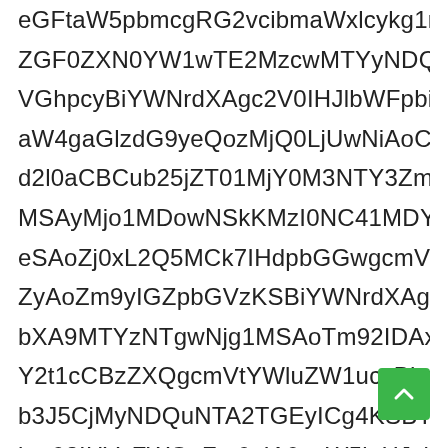eGFtaW5pbmcgRG2vcibmaWxlcykg1mIrJa3VwITNIu ZGF0ZXN0YW1wTE2MzcwMTYyNDQgKE5vdiAxN VGhpcyBiYWNrdXAgc2V0IHJlbWFpbibm9uLWV aW4gaGlzdG9yeQozMjQ0LjUwNiAoCkgRXhhbWlu d2l0aCBCub25jZT01MjY0M3NTY3ZmEsIGRhdGVz MSAyMjo1MDowNSkKMzI0NC41MDYgKDgpIFRoaY eSAoZj0xL2Q5MCk7IHdpbGGwgcmV0YWluIGlua ZyAoZm9yIGZpbGVzKSBiYWNrdXAgc2V0IHdpdG bXA9MTYzNTgwNjg1MSAoTm92IDAxIDIwMjEgM Y2t1cCBzZXQgcmVtYWluZW1ucyBhcyBub24td b3J5CjMyNDQuNTA2TGEyICg4KSBTZXRhaW46IH bm93IHVzZWQgZm9yIA9zeW5jaHJvbml6YXRpb ayBvcHRpb24gc2V0dGluZ3M6IFRoaXMgYmFja3 ZWRlGluZm04KMzI0NDQgKDgpIFRoa1FIoZXJhd byB0aGUgcHJvY2VzcyAoVZScgZXhhbWluZWQga TyBiYWNrdXAgc2V0AGbs0jbyBmbWIuYWxxZm1u